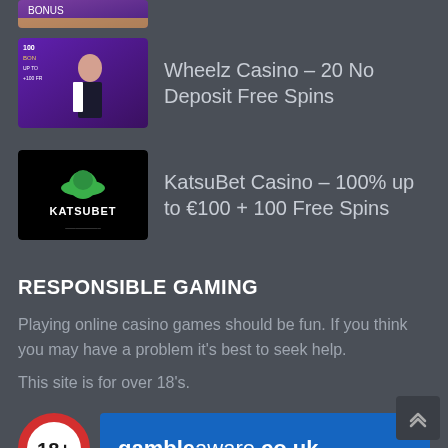[Figure (screenshot): Partial casino promotional banner at top, cropped]
[Figure (screenshot): Wheelz Casino promotional image with man in suit]
Wheelz Casino – 20 No Deposit Free Spins
[Figure (logo): KatsuBet Casino logo on black background]
KatsuBet Casino – 100% up to €100 + 100 Free Spins
RESPONSIBLE GAMING
Playing online casino games should be fun. If you think you may have a problem it's best to seek help.
This site is for over 18's.
[Figure (logo): 18+ age restriction badge — red circle with white interior showing 18+]
[Figure (logo): GambleAware logo on blue background — gambleaware.co.uk]